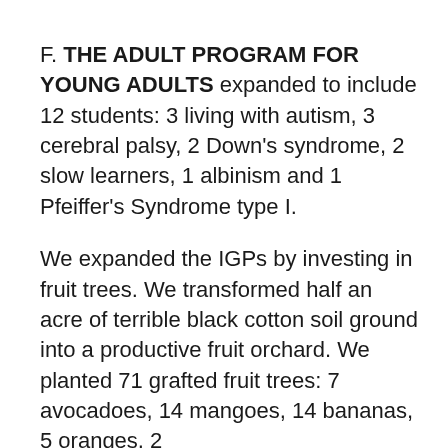F. THE ADULT PROGRAM FOR YOUNG ADULTS expanded to include 12 students: 3 living with autism, 3 cerebral palsy, 2 Down's syndrome, 2 slow learners, 1 albinism and 1 Pfeiffer's Syndrome type I.
We expanded the IGPs by investing in fruit trees. We transformed half an acre of terrible black cotton soil ground into a productive fruit orchard. We planted 71 grafted fruit trees: 7 avocadoes, 14 mangoes, 14 bananas, 5 oranges, 2